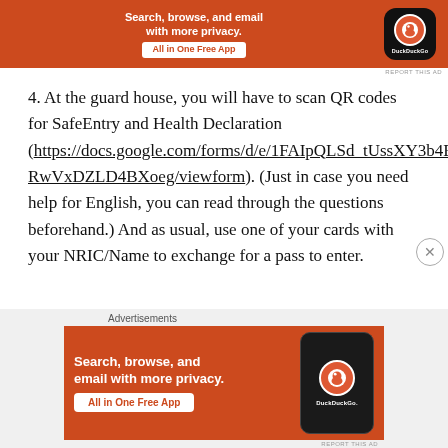[Figure (other): DuckDuckGo advertisement banner at top — orange background with text 'Search, browse, and email with more privacy. All in One Free App' and DuckDuckGo logo on dark rounded square.]
REPORT THIS AD
4. At the guard house, you will have to scan QR codes for SafeEntry and Health Declaration (https://docs.google.com/forms/d/e/1FAIpQLSd_tUssXY3b4EC236Cl4MBtvPd4p0J98Ay-RwVxDZLD4BXoeg/viewform). (Just in case you need help for English, you can read through the questions beforehand.) And as usual, use one of your cards with your NRIC/Name to exchange for a pass to enter.
Advertisements
[Figure (other): DuckDuckGo advertisement banner at bottom — orange background with text 'Search, browse, and email with more privacy. All in One Free App' and DuckDuckGo logo on dark phone mockup.]
REPORT THIS AD